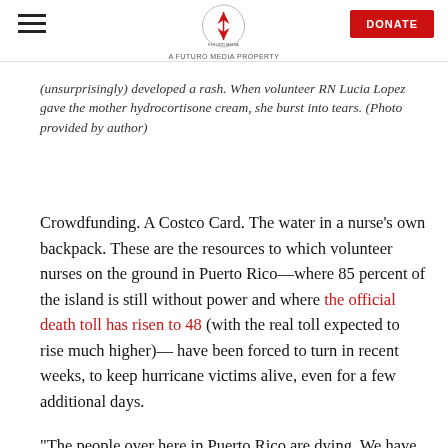A FUTURO MEDIA PROPERTY | DONATE
(unsurprisingly) developed a rash. When volunteer RN Lucia Lopez gave the mother hydrocortisone cream, she burst into tears. (Photo provided by author)
Crowdfunding. A Costco Card. The water in a nurse's own backpack. These are the resources to which volunteer nurses on the ground in Puerto Rico—where 85 percent of the island is still without power and where the official death toll has risen to 48 (with the real toll expected to rise much higher)— have been forced to turn in recent weeks, to keep hurricane victims alive, even for a few additional days.
“The people over here in Puerto Rico are dying. We have a healthcare crisis right now,” said National Nurses United (NNU) vice president and Registered Nurse Response Network (RNRN) volunteer Cathy Kennedy,